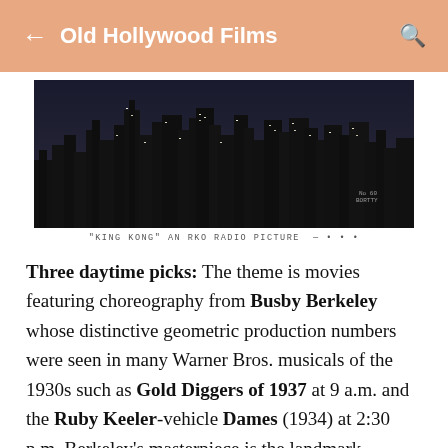Old Hollywood Films
[Figure (photo): Black and white cityscape/skyline nighttime photo from King Kong (RKO Radio Picture)]
"KING KONG" AN RKO RADIO PICTURE
Three daytime picks: The theme is movies featuring choreography from Busby Berkeley whose distinctive geometric production numbers were seen in many Warner Bros. musicals of the 1930s such as Gold Diggers of 1937 at 9 a.m. and the Ruby Keeler-vehicle Dames (1934) at 2:30 p.m. Berkeley's masterpiece is the landmark musical 42nd Street (1933) at 6:15 p.m.